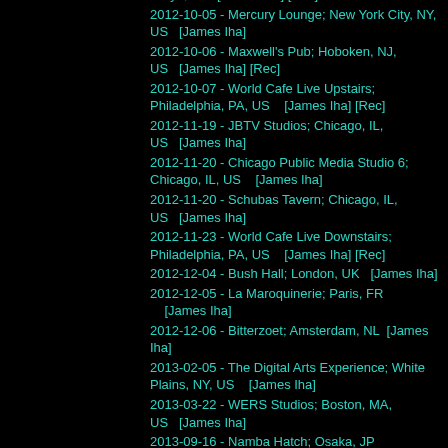Tokyo, JP   [James Iha] [Rec]
2012-10-05 - Mercury Lounge; New York City, NY, US   [James Iha]
2012-10-06 - Maxwell's Pub; Hoboken, NJ, US   [James Iha] [Rec]
2012-10-07 - World Cafe Live Upstairs; Philadelphia, PA, US   [James Iha] [Rec]
2012-11-19 - JBTV Studios; Chicago, IL, US   [James Iha]
2012-11-20 - Chicago Public Media Studio 6; Chicago, IL, US   [James Iha]
2012-11-20 - Schubas Tavern; Chicago, IL, US   [James Iha]
2012-11-23 - World Cafe Live Downstairs; Philadelphia, PA, US   [James Iha] [Rec]
2012-12-04 - Bush Hall; London, UK   [James Iha]
2012-12-05 - La Maroquinerie; Paris, FR   [James Iha]
2012-12-06 - Bitterzoet; Amsterdam, NL   [James Iha]
2013-02-05 - The Digital Arts Experience; White Plains, NY, US   [James Iha]
2013-03-22 - WERS Studios; Boston, MA, US   [James Iha]
2013-09-16 - Namba Hatch; Osaka, JP   James on vocals [James Iha]
2013-09-18 - IMS Hall; Fukuoka, JP   James on vocals [James Iha]
2013-09-21 - Shibuya Club Quattro; Tokyo, JP   James on vocals [James Iha]